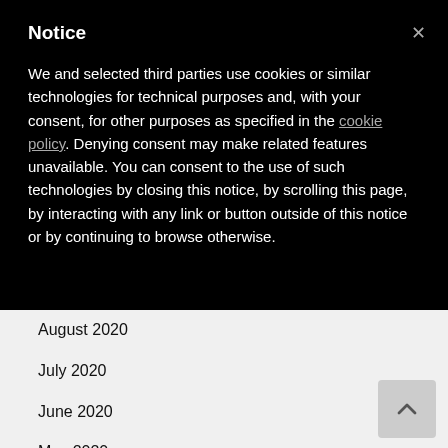Notice
We and selected third parties use cookies or similar technologies for technical purposes and, with your consent, for other purposes as specified in the cookie policy. Denying consent may make related features unavailable. You can consent to the use of such technologies by closing this notice, by scrolling this page, by interacting with any link or button outside of this notice or by continuing to browse otherwise.
August 2020
July 2020
June 2020
May 2020
April 2020
March 2020